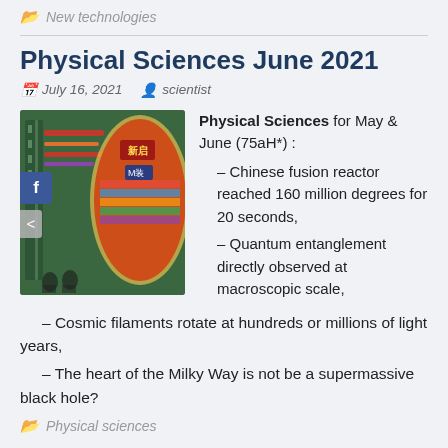New technologies
Physical Sciences June 2021
July 16, 2021   scientist
[Figure (photo): Photo of a large industrial/scientific machine, likely a fusion reactor or accelerator, with Chinese signage and workers in the background. A circular inset shows colorful banners.]
Physical Sciences for May & June (75aH*) :
  – Chinese fusion reactor reached 160 million degrees for 20 seconds,
  – Quantum entanglement directly observed at macroscopic scale,
  – Cosmic filaments rotate at hundreds or millions of light years,
  – The heart of the Milky Way is not be a supermassive black hole?
Physical sciences